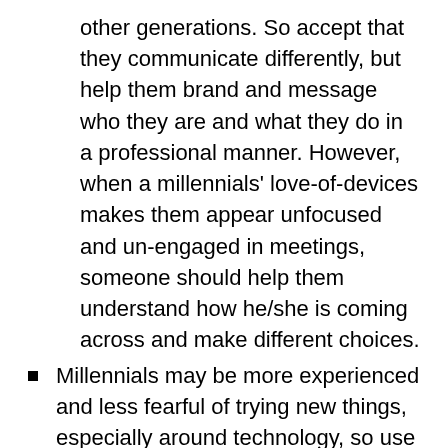other generations. So accept that they communicate differently, but help them brand and message who they are and what they do in a professional manner. However, when a millennials' love-of-devices makes them appear unfocused and un-engaged in meetings, someone should help them understand how he/she is coming across and make different choices.
Millennials may be more experienced and less fearful of trying new things, especially around technology, so use this to your advantage.
Millennials have an entrepreneurial streak, and enjoy both technical and business challenges.
Millennials love to continuously learn and grown. The other side of that is that they need to feel continually challenged in new ways, so they may hop from job to job, role to role. But if you understand that, you can